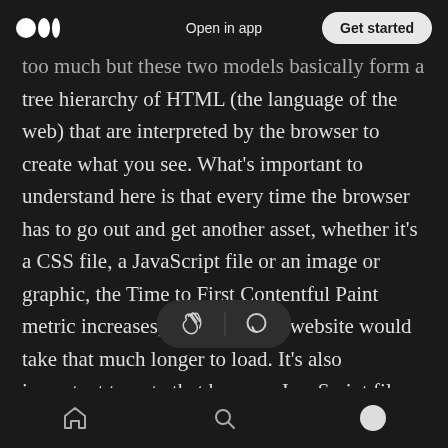Medium logo | Open in app | Get started
too much but these two models basically form a tree hierarchy of HTML (the language of the web) that are interpreted by the browser to create what you see. What's important to understand here is that every time the browser has to go out and get another asset, whether it's a CSS file, a JavaScript file or an image or graphic, the Time to First Contentful Paint metric increases, meaning your website would take that much longer to load. It's also important to note that because JavaScript files actually manipulate the DO by default cause the entire operation to pause before they're
Home | Search | Profile